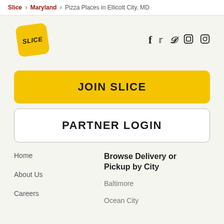Slice > Maryland > Pizza Places in Ellicott City, MD
[Figure (logo): Slice app logo — yellow rounded square with SLICE text, rotated slightly]
f  Twitter  TikTok  LinkedIn  Instagram (social media icons)
JOIN SLICE
PARTNER LOGIN
Home
Browse Delivery or Pickup by City
About Us
Baltimore
Careers
Ocean City